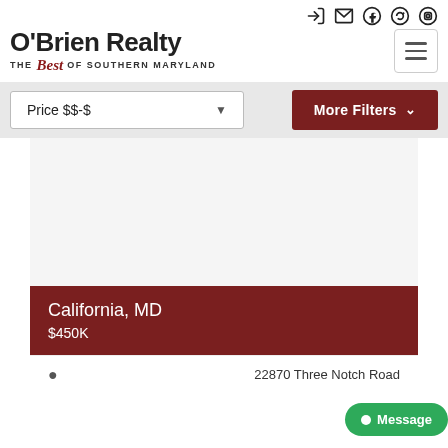[Figure (logo): O'Brien Realty logo with tagline 'THE Best OF SOUTHERN MARYLAND']
Price $$-$
More Filters
[Figure (photo): White/blank listing photo area]
California, MD
$450K
22870 Three Notch Road
Message